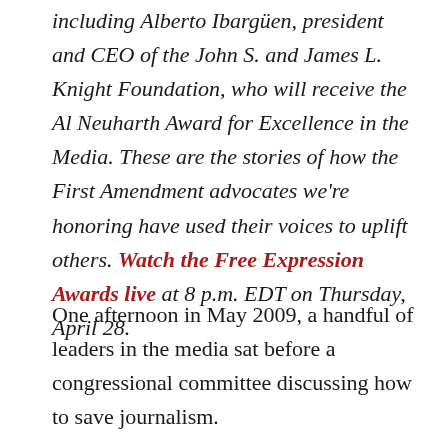including Alberto Ibargüen, president and CEO of the John S. and James L. Knight Foundation, who will receive the Al Neuharth Award for Excellence in the Media. These are the stories of how the First Amendment advocates we're honoring have used their voices to uplift others. Watch the Free Expression Awards live at 8 p.m. EDT on Thursday, April 28.
One afternoon in May 2009, a handful of leaders in the media sat before a congressional committee discussing how to save journalism.